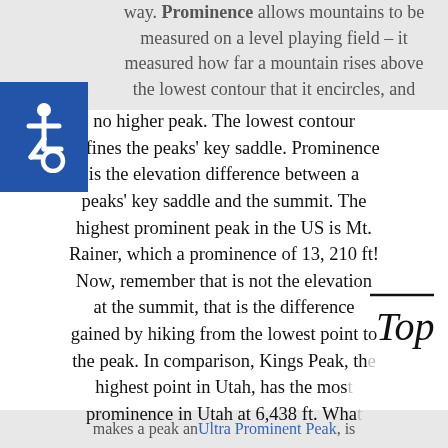way. Prominence allows mountains to be measured on a level playing field – it measured how far a mountain rises above the lowest contour that it encircles, and no higher peak. The lowest contour defines the peaks' key saddle. Prominence is the elevation difference between a peaks' key saddle and the summit. The highest prominent peak in the US is Mt. Rainer, which a prominence of 13, 210 ft! Now, remember that is not the elevation at the summit, that is the difference gained by hiking from the lowest point to the peak. In comparison, Kings Peak, the highest point in Utah, has the most prominence in Utah at 6,438 ft. What makes a peak an Ultra Prominent Peak, is
[Figure (illustration): Blue square with white wheelchair accessibility icon]
[Figure (illustration): Handwritten cursive text reading 'Top' with a horizontal line above it, resembling a bookmark or tab marker]